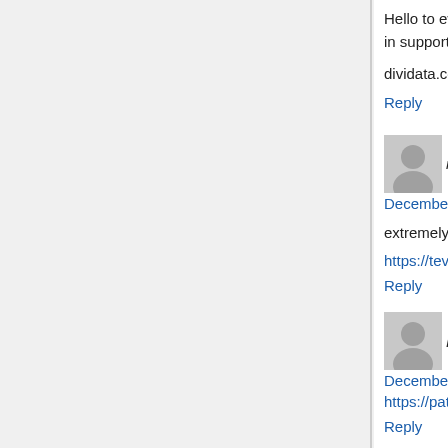Hello to every body, it's my first visit of this webs in support of visitors.|
dividata.com
Reply
meth amphetamine and sildenafil citrate v
December 28, 2020 at 9:59 am
extremely wonderful article, i definitely love this
https://tevaviagra.com/
Reply
Richard Larrivieri says:
December 28, 2020 at 5:35 pm
https://patch.com/new-jersey/fairlawn-saddlebro
Reply
Charles Kleinmetz says:
December 28, 2020 at 6:24 pm
https://patch.com/florida/stpete/100k-stolen-elde